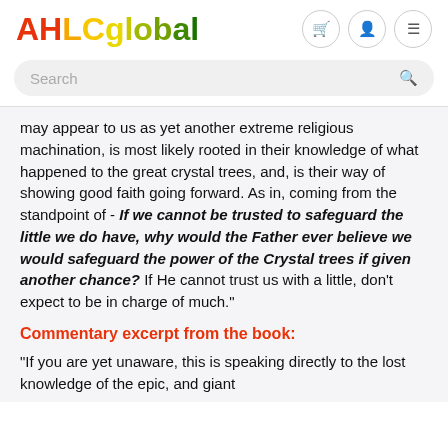[Figure (logo): AHLCglobal logo in gradient red to green colors]
Search
may appear to us as yet another extreme religious machination, is most likely rooted in their knowledge of what happened to the great crystal trees, and, is their way of showing good faith going forward. As in, coming from the standpoint of - If we cannot be trusted to safeguard the little we do have, why would the Father ever believe we would safeguard the power of the Crystal trees if given another chance? If He cannot trust us with a little, don't expect to be in charge of much."
Commentary excerpt from the book:
"If you are yet unaware, this is speaking directly to the lost knowledge of the epic, and giant